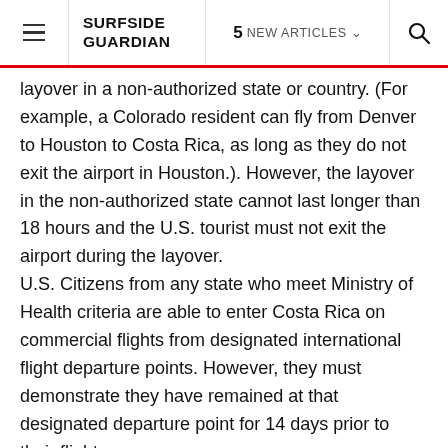SURFSIDE GUARDIAN | 5 NEW ARTICLES | Search
layover in a non-authorized state or country. (For example, a Colorado resident can fly from Denver to Houston to Costa Rica, as long as they do not exit the airport in Houston.). However, the layover in the non-authorized state cannot last longer than 18 hours and the U.S. tourist must not exit the airport during the layover.
U.S. Citizens from any state who meet Ministry of Health criteria are able to enter Costa Rica on commercial flights from designated international flight departure points. However, they must demonstrate they have remained at that designated departure point for 14 days prior to their flight.
U.S. citizens with permanent or temporary Costa Rican residency may enter Costa Rica via air regardless of where they are coming from and must present the